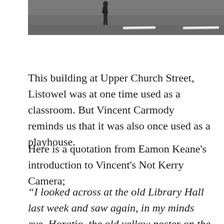[Figure (photo): Partial view of a road/street scene, grey asphalt with white lane markings, a person walking visible at top, cropped at top of page]
This building at Upper Church Street, Listowel was at one time used as a classroom. But Vincent Carmody reminds us that it was also once used as a playhouse.
Here is a quotation from Eamon Keane's introduction to Vincent's Not Kerry Camera;
“I looked across at the old Library Hall last week and saw again, in my minds eye, Horatio, the old yellow poster on the billboard outside: